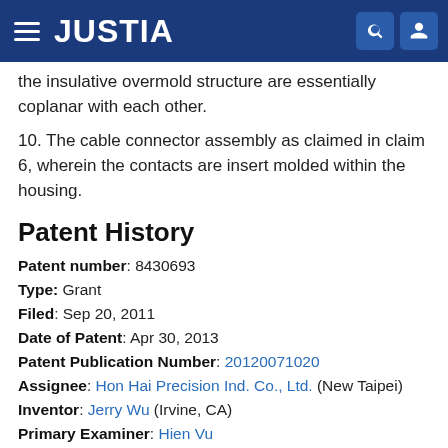JUSTIA
the insulative overmold structure are essentially coplanar with each other.
10. The cable connector assembly as claimed in claim 6, wherein the contacts are insert molded within the housing.
Patent History
Patent number: 8430693
Type: Grant
Filed: Sep 20, 2011
Date of Patent: Apr 30, 2013
Patent Publication Number: 20120071020
Assignee: Hon Hai Precision Ind. Co., Ltd. (New Taipei)
Inventor: Jerry Wu (Irvine, CA)
Primary Examiner: Hien Vu
Application Number: 13/237,899